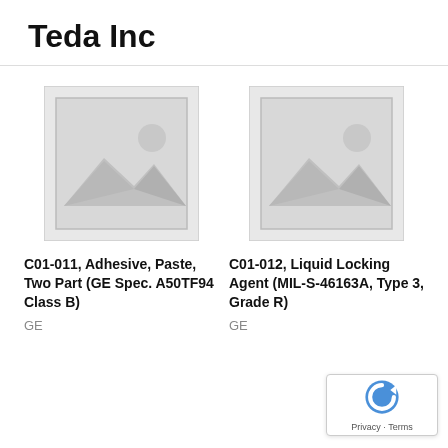Teda Inc
[Figure (illustration): Placeholder image for product C01-011, grey image placeholder icon with mountain and sun]
C01-011, Adhesive, Paste, Two Part (GE Spec. A50TF94 Class B)
GE
[Figure (illustration): Placeholder image for product C01-012, grey image placeholder icon with mountain and sun]
C01-012, Liquid Locking Agent (MIL-S-46163A, Type 3, Grade R)
GE